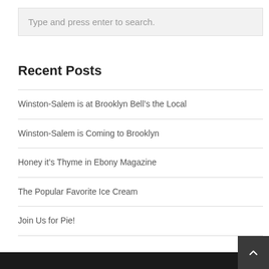Type and press enter to search.
Recent Posts
Winston-Salem is at Brooklyn Bell’s the Local
Winston-Salem is Coming to Brooklyn
Honey it’s Thyme in Ebony Magazine
The Popular Favorite Ice Cream
Join Us for Pie!